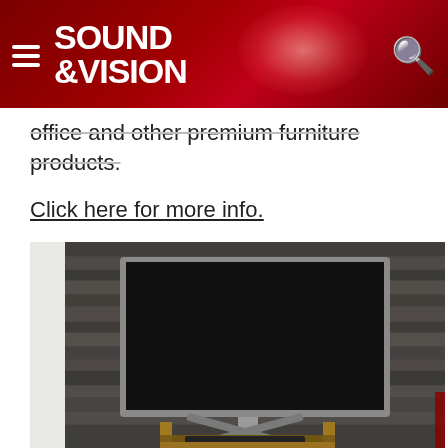SOUND &VISION
office and other premium furniture products.
Click here for more info.
[Figure (photo): A flat-screen TV mounted on a stone/wooden-textured dark grey wall, positioned on a wooden TV stand unit with shelves, containing audio equipment. The wall has a stacked stone tile appearance.]